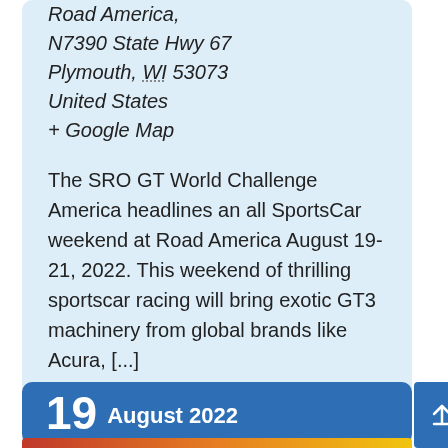Road America,
N7390 State Hwy 67
Plymouth, WI 53073
United States
+ Google Map
The SRO GT World Challenge America headlines an all SportsCar weekend at Road America August 19-21, 2022. This weekend of thrilling sportscar racing will bring exotic GT3 machinery from global brands like Acura, [...]
Find out more »
[Figure (other): Share button icon - square with rounded corners containing a share/network symbol]
19 August 2022
[Figure (other): Navigation up arrow button in blue square]
[Figure (other): Bottom strip with gradient colors red-orange-yellow]